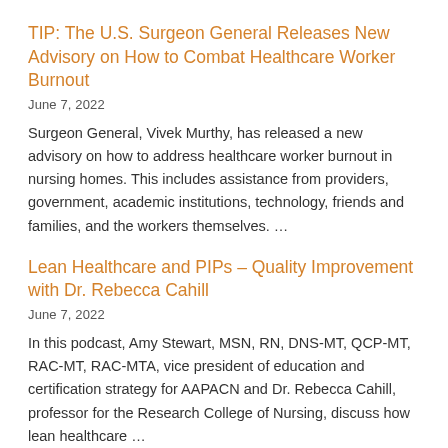TIP: The U.S. Surgeon General Releases New Advisory on How to Combat Healthcare Worker Burnout
June 7, 2022
Surgeon General, Vivek Murthy, has released a new advisory on how to address healthcare worker burnout in nursing homes. This includes assistance from providers, government, academic institutions, technology, friends and families, and the workers themselves. …
Lean Healthcare and PIPs – Quality Improvement with Dr. Rebecca Cahill
June 7, 2022
In this podcast, Amy Stewart, MSN, RN, DNS-MT, QCP-MT, RAC-MT, RAC-MTA, vice president of education and certification strategy for AAPACN and Dr. Rebecca Cahill, professor for the Research College of Nursing, discuss how lean healthcare …